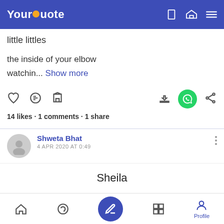YourQuote
little littles
the inside of your elbow
watchin... Show more
14 likes · 1 comments · 1 share
Shweta Bhat
4 APR 2020 AT 0:49
Sheila
I remember I was eating chow-chow
In my living room, watching TV trailers.
Home | Explore | Write | Grid | Profile